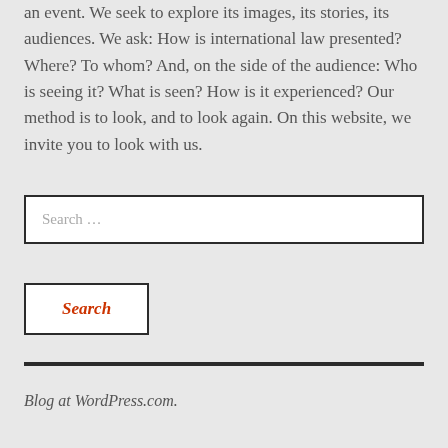an event. We seek to explore its images, its stories, its audiences. We ask: How is international law presented? Where? To whom? And, on the side of the audience: Who is seeing it? What is seen? How is it experienced? Our method is to look, and to look again. On this website, we invite you to look with us.
[Figure (screenshot): Search input field with placeholder text 'Search ...' inside a rectangular box with dark border on light gray background]
[Figure (screenshot): Search button with italic red 'Search' text inside a rectangular border on light gray background]
Blog at WordPress.com.